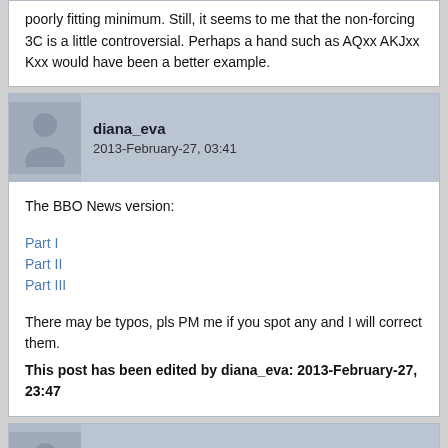poorly fitting minimum. Still, it seems to me that the non-forcing 3C is a little controversial. Perhaps a hand such as AQxx AKJxx Kxx would have been a better example.
diana_eva
2013-February-27, 03:41
The BBO News version:

Part I
Part II
Part III

There may be typos, pls PM me if you spot any and I will correct them.
This post has been edited by diana_eva: 2013-February-27, 23:47
TWO4BRIDGE
2013-February-27, 15:19
I don't know about "mistakes" — just what agreements you have with